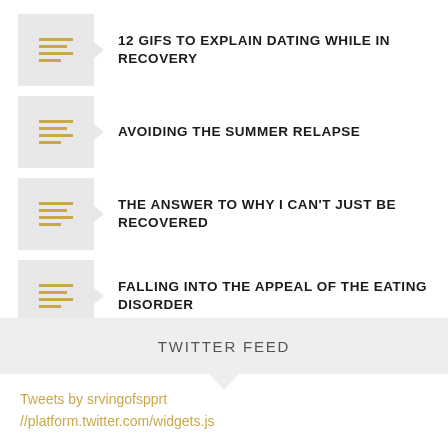12 GIFS TO EXPLAIN DATING WHILE IN RECOVERY
AVOIDING THE SUMMER RELAPSE
THE ANSWER TO WHY I CAN'T JUST BE RECOVERED
FALLING INTO THE APPEAL OF THE EATING DISORDER
TWITTER FEED
Tweets by srvingofspprt //platform.twitter.com/widgets.js